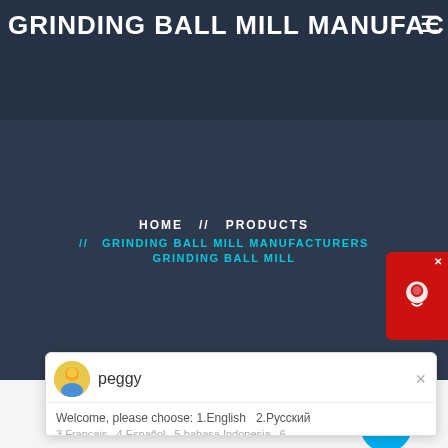GRINDING BALL MILL MANUFAC
HOME // PRODUCTS // GRINDING BALL MILL MANUFACTURERS GRINDING BALL MILL
[Figure (screenshot): Chat popup with avatar labeled 'peggy', showing message: Welcome, please choose: 1.English 2.Русский 3.Francais 4.Español 5.bahasa Indonesia 6...]
[Figure (photo): Industrial grinding ball mill machinery inside a factory building]